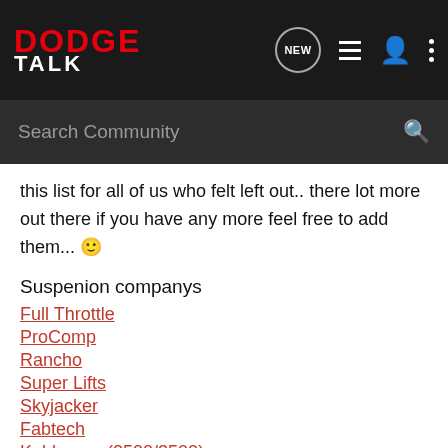DODGE TALK
this list for all of us who felt left out.. there lot more out there if you have any more feel free to add them... 🙂
Suspenion companys
Full Throttle
ProComp
Rancho
Super Lifts
Skyjacker
Fabtech
Kelderman(2500/3500)
Chassis Tech
Crawl Tech(Dont have 3rd gen yet)
CTS
Tuff Country